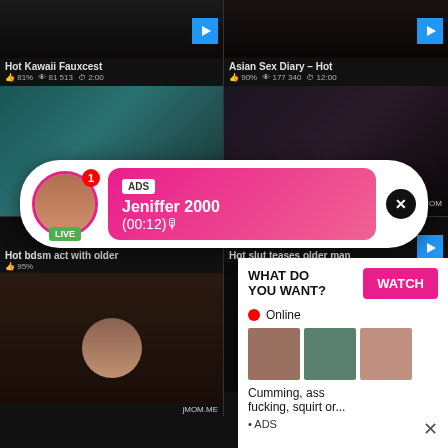[Figure (screenshot): Adult video website screenshot with thumbnails, overlaid live chat popup and advertisement popup]
Hot Kawaii Fauxcest
81%  81 513  2:00
Asian Sex Diary – Hot
90%  177 340  12:00
ADS Jeniffer 2000 (00:12)🎙
Hot bdsm act with older
95%
Hot slut teases older man
WHAT DO YOU WANT?  WATCH  Online  Cumming, ass fucking, squirt or...  • ADS
jMOM.ME